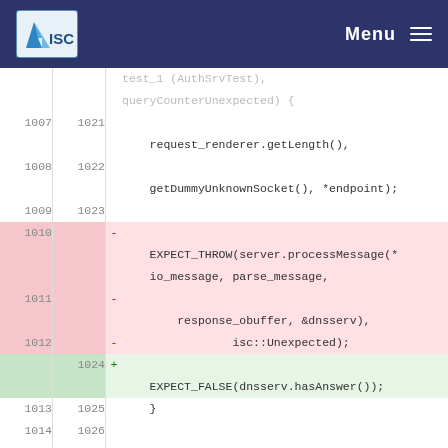ISC Menu
[Figure (screenshot): Code diff view showing changes to a C++ test file. Lines 1007-1015 (old) and 1021-1027 (new) showing diff of DNS server test code. Removed lines (red): EXPECT_THROW(server.processMessage(*io_message, parse_message, response_obuffer, &dnsserv), isc::Unexpected);. Added lines (green): EXPECT_FALSE(dnsserv.hasAnswer());. Context lines include request_renderer.getLength(), getDummyUnknownSocket(), *endpoint), TEST_F(AuthSrvTest, stop), and partial hunk @@ -1038,4 +1050,231 @@ TEST_F(AuthSrvTest, listenAddresses)]